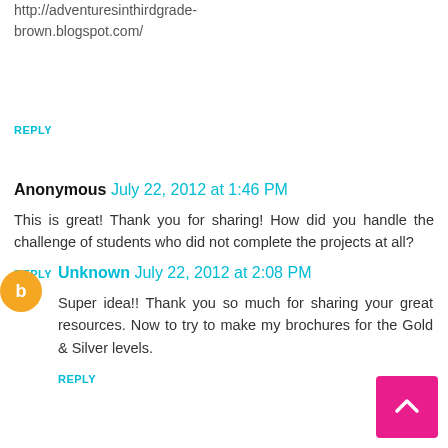http://adventuresinthirdgrade-brown.blogspot.com/
REPLY
Anonymous July 22, 2012 at 1:46 PM
This is great! Thank you for sharing! How did you handle the challenge of students who did not complete the projects at all?
REPLY
Unknown July 22, 2012 at 2:08 PM
Super idea!! Thank you so much for sharing your great resources. Now to try to make my brochures for the Gold & Silver levels.
REPLY